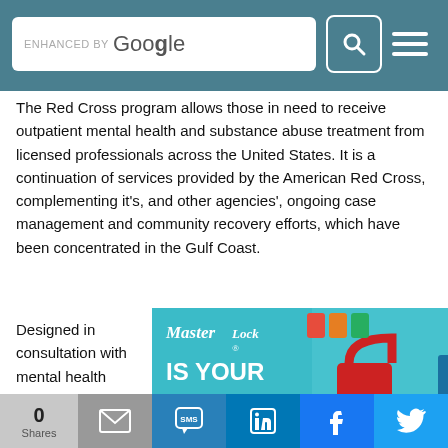ENHANCED BY Google [search bar] [menu]
The Red Cross program allows those in need to receive outpatient mental health and substance abuse treatment from licensed professionals across the United States. It is a continuation of services provided by the American Red Cross, complementing it's, and other agencies', ongoing case management and community recovery efforts, which have been concentrated in the Gulf Coast.
Designed in consultation with mental health experts and other agencies active in
[Figure (advertisement): Master Lock advertisement with teal/cyan background showing padlocks. Text reads 'Master Lock - IS YOUR LOCKOUT PROGRAM COMPLIANT?']
0 Shares | Email | SMS | LinkedIn | Facebook | Twitter | Crown